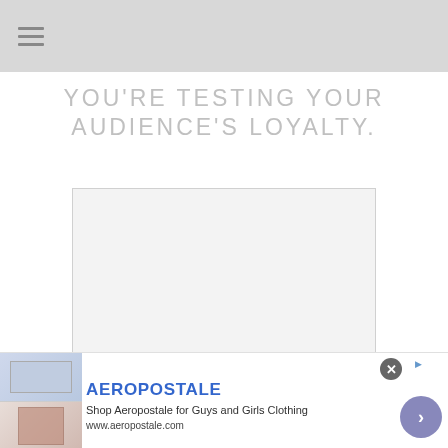≡
YOU'RE TESTING YOUR AUDIENCE'S LOYALTY.
[Figure (other): Empty light gray placeholder box with thin border, likely an embedded video or image area]
[Figure (other): Advertisement banner for Aeropostale showing clothing images, brand name, tagline 'Shop Aeropostale for Guys and Girls Clothing', URL www.aeropostale.com, with close button and arrow navigation button]